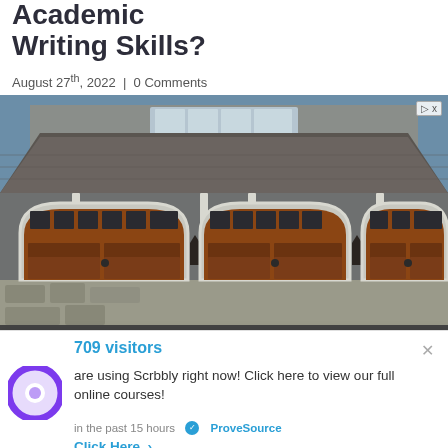Academic Writing Skills?
August 27th, 2022 | 0 Comments
[Figure (photo): Advertisement photo showing a house facade with three wooden garage doors with arched white trim, stone and grey siding, wall lanterns, and a grey shingled roof.]
709 visitors
are using Scrbbly right now! Click here to view our full online courses!
in the past 15 hours ✓ ProveSource
Click Here >